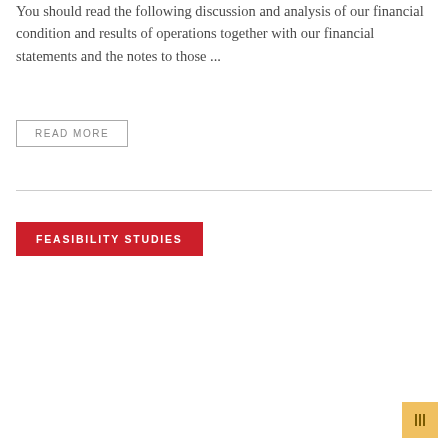You should read the following discussion and analysis of our financial condition and results of operations together with our financial statements and the notes to those ...
READ MORE
FEASIBILITY STUDIES